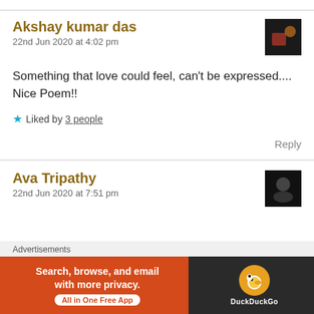Akshay kumar das
22nd Jun 2020 at 4:02 pm
Something that love could feel, can't be expressed.... Nice Poem!!
★ Liked by 3 people
Reply
Ava Tripathy
22nd Jun 2020 at 7:51 pm
Advertisements
[Figure (screenshot): DuckDuckGo advertisement banner: orange background with text 'Search, browse, and email with more privacy. All in One Free App' and DuckDuckGo logo on dark background]